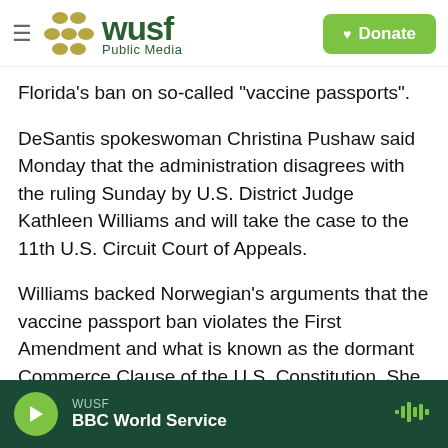WUSF Public Media — Donate button
Florida's ban on so-called 'vaccine passports'.
DeSantis spokeswoman Christina Pushaw said Monday that the administration disagrees with the ruling Sunday by U.S. District Judge Kathleen Williams and will take the case to the 11th U.S. Circuit Court of Appeals.
Williams backed Norwegian's arguments that the vaccine passport ban violates the First Amendment and what is known as the dormant Commerce Clause of the U.S. Constitution. She issued an injunction against a state law that would prevent Norwegian from requiring documentation that
WUSF — BBC World Service